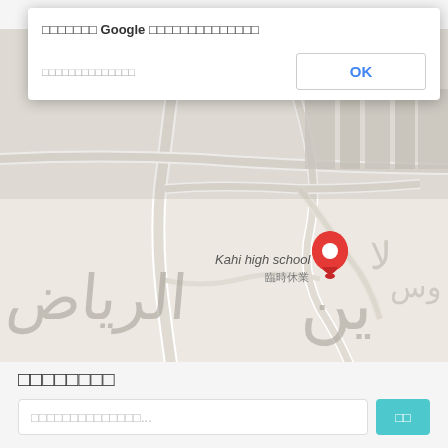[Figure (screenshot): Google Maps dialog overlay showing a map with a red location pin on 'Kahi high school' (臨時休業), with Arabic street labels in the background. A dialog box at the top contains Japanese/CJK text with an OK button.]
□□□□□□□ Google □□□□□□□□□□□□□□
□□□□□□□□□□□□□□
□□□□□□□□
□□□□□□□□□□□□□□...